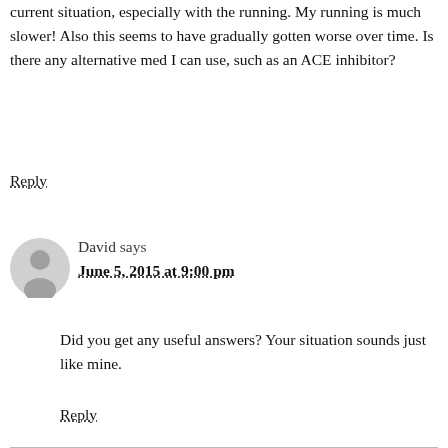current situation, especially with the running. My running is much slower! Also this seems to have gradually gotten worse over time. Is there any alternative med I can use, such as an ACE inhibitor?
Reply
David says
June 5, 2015 at 9:00 pm
Did you get any useful answers? Your situation sounds just like mine.
Reply